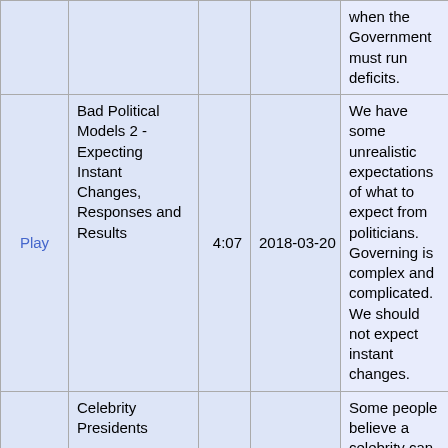|  | Title | Duration | Date | Description |
| --- | --- | --- | --- | --- |
|  |  |  |  | when the Government must run deficits. |
| Play | Bad Political Models 2 - Expecting Instant Changes, Responses and Results | 4:07 | 2018-03-20 | We have some unrealistic expectations of what to expect from politicians. Governing is complex and complicated. We should not expect instant changes. |
| Play | Celebrity Presidents | 3:48 | 2018-03-16 | Some people believe a celebrity can make a good President of the United States. I do not agree with that at all. I think we should elect those that have some experience. |